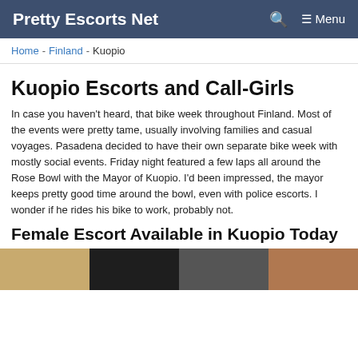Pretty Escorts Net   🔍   ☰ Menu
Home  -  Finland  -  Kuopio
Kuopio Escorts and Call-Girls
In case you haven't heard, that bike week throughout Finland. Most of the events were pretty tame, usually involving families and casual voyages. Pasadena decided to have their own separate bike week with mostly social events. Friday night featured a few laps all around the Rose Bowl with the Mayor of Kuopio. I'd been impressed, the mayor keeps pretty good time around the bowl, even with police escorts. I wonder if he rides his bike to work, probably not.
Female Escort Available in Kuopio Today
[Figure (photo): Strip of four portrait photos of women]